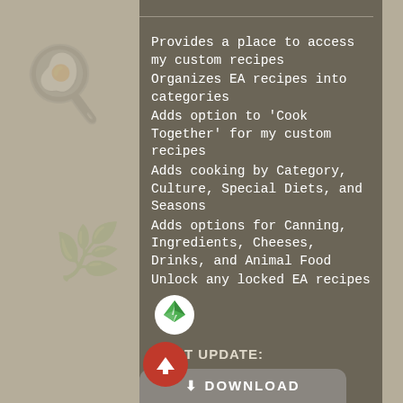Provides a place to access my custom recipes
Organizes EA recipes into categories
Adds option to 'Cook Together' for my custom recipes
Adds cooking by Category, Culture, Special Diets, and Seasons
Adds options for Canning, Ingredients, Cheeses, Drinks, and Animal Food
Unlock any locked EA recipes
[Figure (logo): The Sims plumbob green diamond logo on white circle background]
LAST UPDATE:
5/16/22
DOWNLOAD